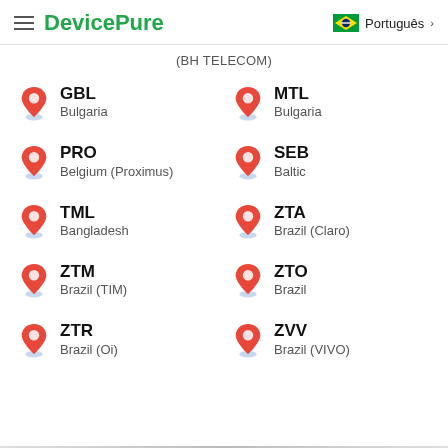DevicePure | Português
(BH TELECOM)
GBL — Bulgaria
MTL — Bulgaria
PRO — Belgium (Proximus)
SEB — Baltic
TML — Bangladesh
ZTA — Brazil (Claro)
ZTM — Brazil (TIM)
ZTO — Brazil
ZTR — Brazil (Oi)
ZVV — Brazil (VIVO)